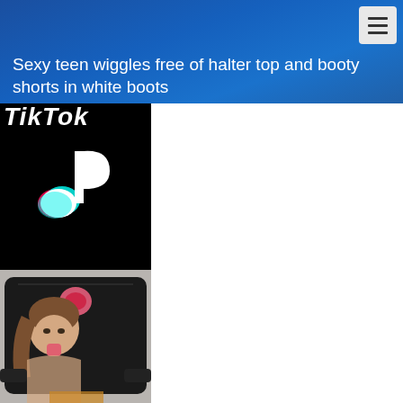Navigation header bar with hamburger menu button
Sexy teen wiggles free of halter top and booty shorts in white boots
[Figure (photo): TikTok promotional ad banner with TikTok logo, music note icon, and TAP HERE button on black background]
[Figure (photo): Photo of a young woman sitting in a black gaming chair sticking out her tongue]